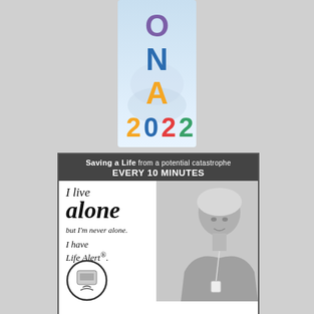[Figure (logo): ONA 2022 colorful vertical logo with letters O (purple), N (blue), A (orange) stacked vertically, and '2022' in multicolor below, with a light blue/white background showing hands]
[Figure (advertisement): Life Alert advertisement. Dark gray header reads 'Saving a Life from a potential catastrophe EVERY 10 MINUTES'. Below on white background with photo of older woman: italic text reading 'I live alone but I'm never alone. I have Life Alert.' with a circular device image at bottom left.]